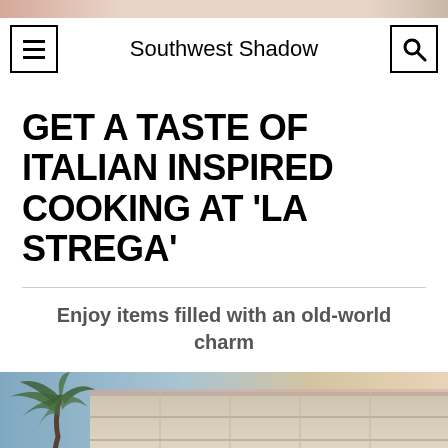Southwest Shadow
GET A TASTE OF ITALIAN INSPIRED COOKING AT 'LA STREGA'
Enjoy items filled with an old-world charm
[Figure (photo): Exterior photo of La Strega restaurant building with palm tree in foreground and a beige/tan modern building facade visible against a dusk sky]